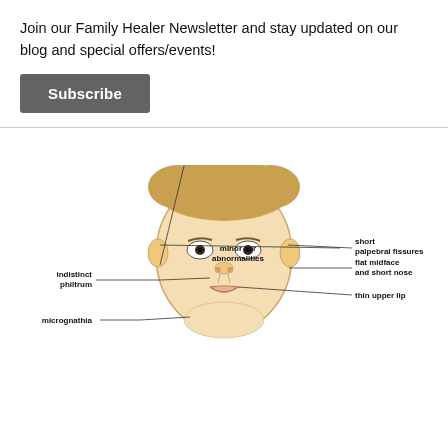Join our Family Healer Newsletter and stay updated on our blog and special offers/events!
Subscribe
[Figure (illustration): Medical illustration of a baby face showing FASD physical features with labeled lines pointing to: minor ear abnormalities, short palpebral fissures, flat midface and short nose, indistinct philtrum, micrognathia, thin upper lip]
In addition to the physical symptoms of FASD, there are several corresponding mental health problems, such as attentional deficits, clinical depression, anxiety, or other mental illness. As you can imagine, many of the problems